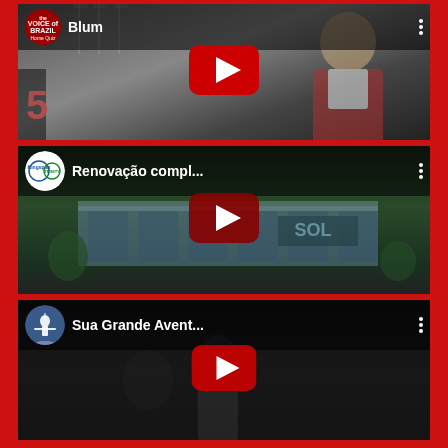[Figure (screenshot): YouTube app screenshot showing three video cards. Card 1: 'Blum' with Voice of Brazil logo. Card 2: 'Renovação compl...' with Kingspan/Trinity logo. Card 3: 'Sua Grande Avent...' with a religious figure icon. Each card has a YouTube play button overlay and three-dot menu icon.]